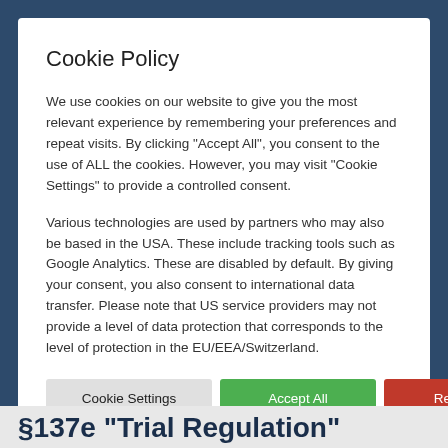Cookie Policy
We use cookies on our website to give you the most relevant experience by remembering your preferences and repeat visits. By clicking "Accept All", you consent to the use of ALL the cookies. However, you may visit "Cookie Settings" to provide a controlled consent.
Various technologies are used by partners who may also be based in the USA. These include tracking tools such as Google Analytics. These are disabled by default. By giving your consent, you also consent to international data transfer. Please note that US service providers may not provide a level of data protection that corresponds to the level of protection in the EU/EEA/Switzerland.
Cookie Settings | Accept All | Reject All
§137e "Trial Regulation"